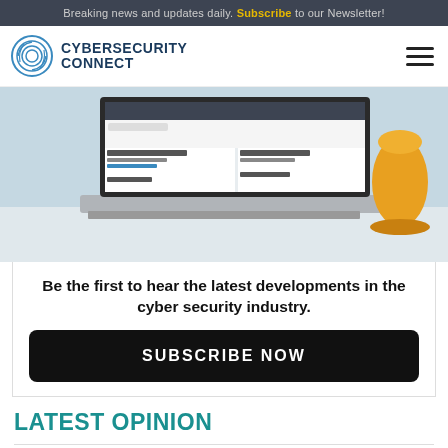Breaking news and updates daily. Subscribe to our Newsletter!
[Figure (logo): CyberSecurity Connect logo with fingerprint icon]
[Figure (photo): Laptop computer showing CyberSecurity Connect website, with a yellow cup/vase in the background on a white desk]
Be the first to hear the latest developments in the cyber security industry.
SUBSCRIBE NOW
LATEST OPINION